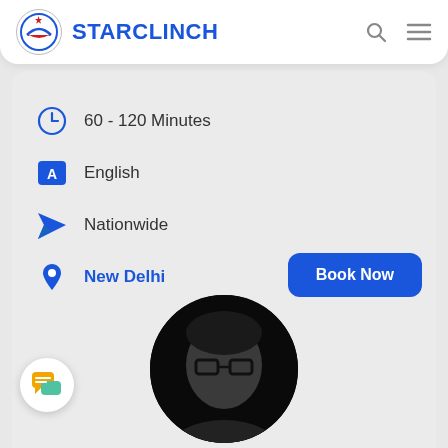STARCLINCH
60 - 120 Minutes
English
Nationwide
New Delhi
[Figure (photo): Black and white profile photo of a young man with glasses]
[Figure (illustration): Chat bubble icon widget in bottom left corner]